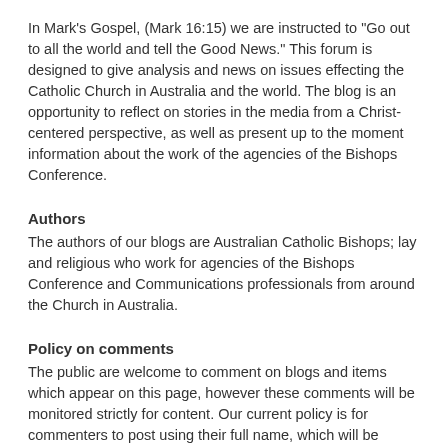In Mark's Gospel, (Mark 16:15) we are instructed to "Go out to all the world and tell the Good News." This forum is designed to give analysis and news on issues effecting the Catholic Church in Australia and the world. The blog is an opportunity to reflect on stories in the media from a Christ-centered perspective, as well as present up to the moment information about the work of the agencies of the Bishops Conference.
Authors
The authors of our blogs are Australian Catholic Bishops; lay and religious who work for agencies of the Bishops Conference and Communications professionals from around the Church in Australia.
Policy on comments
The public are welcome to comment on blogs and items which appear on this page, however these comments will be monitored strictly for content. Our current policy is for commenters to post using their full name, which will be verified wherever possible (including by comparing with associated email addresses). Comments should reflect a commitment to Christian charity and be carefully considered before being posted. Only comments which are considered appropriate by the General Secretariat of the ACBC will be published. Correspondence will not be entered into.